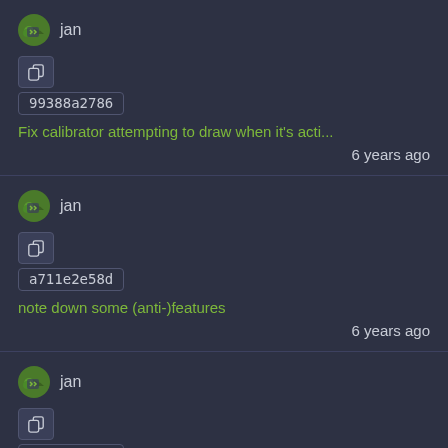jan
99388a2786
Fix calibrator attempting to draw when it's acti...
6 years ago
jan
a711e2e58d
note down some (anti-)features
6 years ago
jan
b1fbbc74b2
'document' hardware config variables